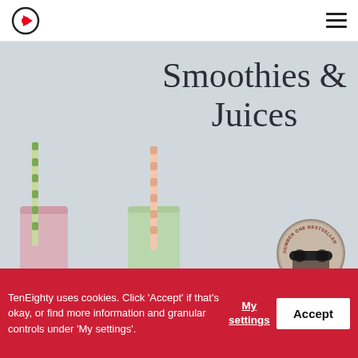TenEighty logo and hamburger menu
[Figure (photo): Book cover image for 'Smoothies & Juices' showing two drinks with colorful straws — a pink smoothie on the left and a green juice on the right — against a light grey background, with a circular author photo in the bottom right corner showing a woman in sunglasses, and text 'NUMBER ONE BESTSELLER' around the circle.]
Smoothies & Juices
Ell... Mill... To Bel...
TenEighty uses cookies. Click 'Accept' if that's okay, or find more information and granular controls under 'My settings'.
My settings
Accept